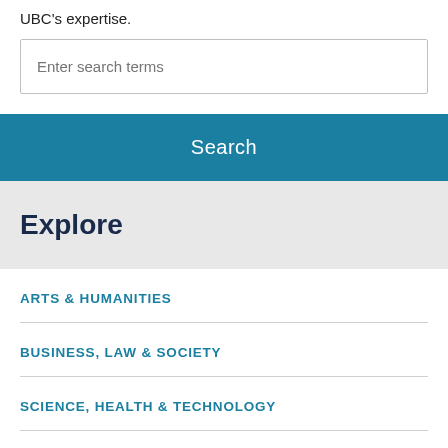UBC's expertise.
Enter search terms
Search
Explore
ARTS & HUMANITIES
BUSINESS, LAW & SOCIETY
SCIENCE, HEALTH & TECHNOLOGY